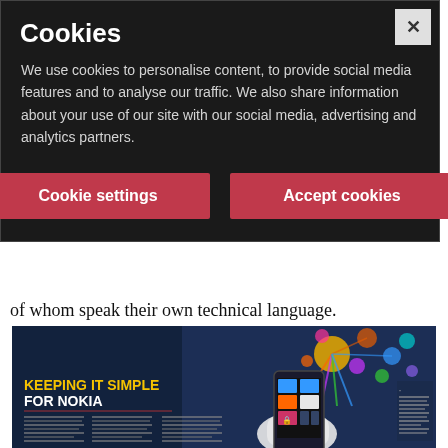Cookies
We use cookies to personalise content, to provide social media features and to analyse our traffic. We also share information about your use of our site with our social media, advertising and analytics partners.
Cookie settings
Accept cookies
of whom speak their own technical language.
[Figure (screenshot): Nokia article page showing 'KEEPING IT SIMPLE FOR NOKIA' headline with a hand holding a Nokia Windows Phone and colorful network/app icons above it.]